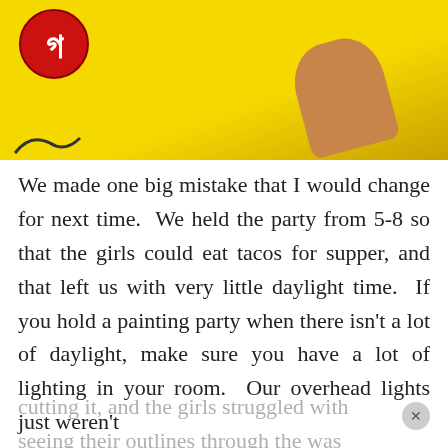[Figure (photo): Photo of a person wearing a yellow outfit with a red circular logo/badge on the left side, with an arm visible on the right side against the yellow background.]
We made one big mistake that I would change for next time.  We held the party from 5-8 so that the girls could eat tacos for supper, and that left us with very little daylight time.  If you hold a painting party when there isn't a lot of daylight, make sure you have a lot of lighting in your room.  Our overhead lights just weren't
cutting it, and the girls struggled with seeing their outlines through the was